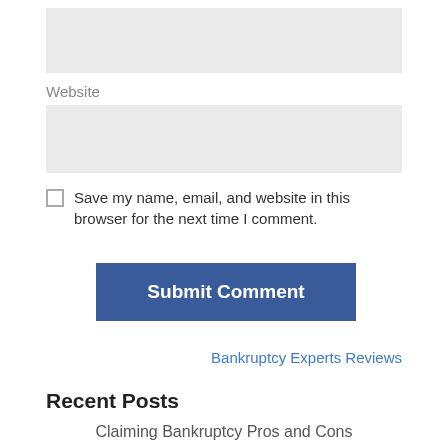[Figure (other): Gray input box (text field, top)]
Website
[Figure (other): Gray input box for Website field]
Save my name, email, and website in this browser for the next time I comment.
Submit Comment
Bankruptcy Experts Reviews
Recent Posts
Claiming Bankruptcy Pros and Cons